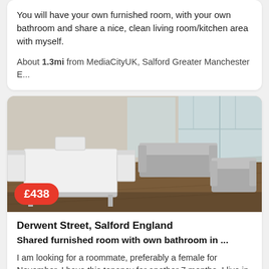You will have your own furnished room, with your own bathroom and share a nice, clean living room/kitchen area with myself.
About 1.3mi from MediaCityUK, Salford Greater Manchester E...
[Figure (photo): Interior photo of a furnished living room/kitchen area with grey sofas, white dining table and chairs, wooden floor, and large windows]
£438
Derwent Street, Salford England
Shared furnished room with own bathroom in ...
I am looking for a roommate, preferably a female for November. I have this tenancy for another 7 months. I live in the Salford area, walking distance...